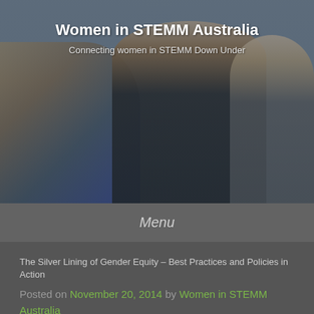[Figure (photo): Three women seated at what appears to be a panel or event. The woman on the left has blonde hair and is wearing a blue/purple outfit. The woman in the center has dark hair and is wearing a black sleeveless dress with a name badge. The woman on the right has light hair and is wearing a patterned top.]
Women in STEMM Australia
Connecting women in STEMM Down Under
Menu
The Silver Lining of Gender Equity – Best Practices and Policies in Action
Posted on November 20, 2014 by Women in STEMM Australia
Professor Tim Wess FRSA